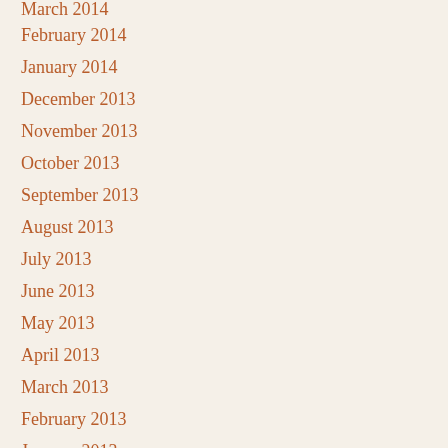March 2014
February 2014
January 2014
December 2013
November 2013
October 2013
September 2013
August 2013
July 2013
June 2013
May 2013
April 2013
March 2013
February 2013
January 2013